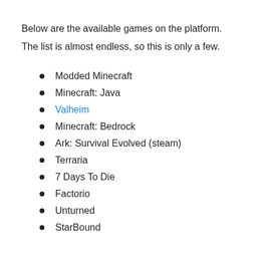Below are the available games on the platform.
The list is almost endless, so this is only a few.
Modded Minecraft
Minecraft: Java
Valheim
Minecraft: Bedrock
Ark: Survival Evolved (steam)
Terraria
7 Days To Die
Factorio
Unturned
StarBound